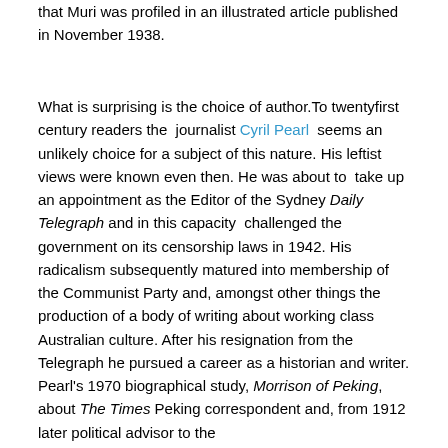that Muri was profiled in an illustrated article published in November 1938.
What is surprising is the choice of author.To twentyfirst century readers the  journalist Cyril Pearl  seems an unlikely choice for a subject of this nature. His leftist views were known even then. He was about to  take up an appointment as the Editor of the Sydney Daily Telegraph and in this capacity  challenged the government on its censorship laws in 1942. His radicalism subsequently matured into membership of the Communist Party and, amongst other things the production of a body of writing about working class Australian culture. After his resignation from the Telegraph he pursued a career as a historian and writer. Pearl's 1970 biographical study, Morrison of Peking, about The Times Peking correspondent and, from 1912 later political advisor to the